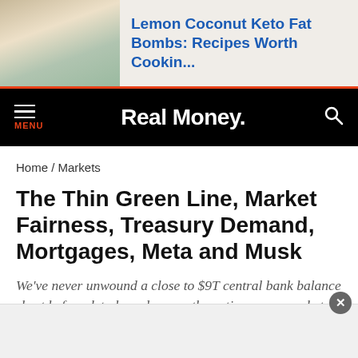[Figure (photo): Advertisement banner showing food photo (lemon coconut keto fat bombs in a glass) with blue text link]
Lemon Coconut Keto Fat Bombs: Recipes Worth Cookin...
Real Money.
Home / Markets
The Thin Green Line, Market Fairness, Treasury Demand, Mortgages, Meta and Musk
We've never unwound a close to $9T central bank balance sheet before, let alone do so as the entire economy skates on the thinnest ice seen in these parts for quite some time.